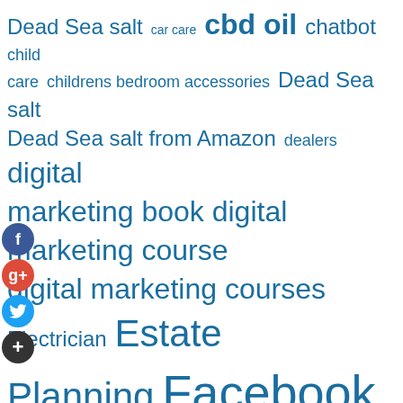[Figure (infographic): A tag cloud / word cloud featuring marketing and product-related keywords in various font sizes, all in teal/steel-blue color. Terms include: Dead Sea salt, car care, cbd oil, chatbot, child care, childrens bedroom accessories, Dead Sea salt, Dead Sea salt from Amazon, dealers, digital marketing book, digital marketing course, digital marketing courses, Electrician, Estate Planning, Facebook Chatbot, Facebook Messenger Bot, garden, Health, Himalayan pink salt, Himalayan salt, kids, marketing automation course, marketing courses, Messenger Bot, online marketing courses, Personal Injury Lawyer, Pink. Social media icons (Facebook, Google+, Twitter, and a plus button) appear on the left side.]